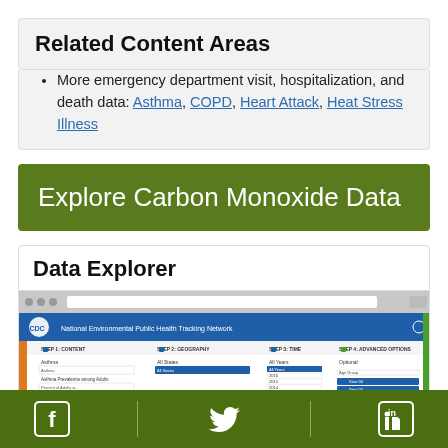Related Content Areas
More emergency department visit, hospitalization, and death data: Asthma, COPD, Heart Attack, Heat Stress Illness
Explore Carbon Monoxide Data
Data Explorer
[Figure (screenshot): CDC National Environmental Public Health Tracking Network data explorer interface screenshot showing content, geography, time, and advanced options steps]
Facebook | Twitter | LinkedIn social media icons